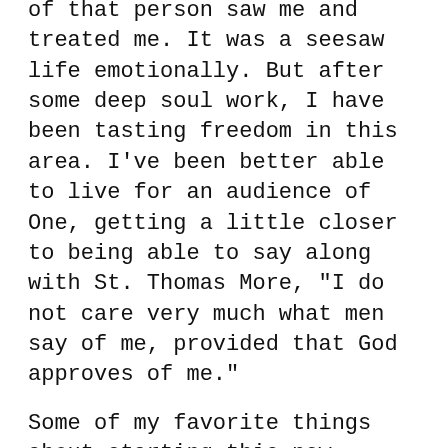of that person saw me and treated me. It was a seesaw life emotionally. But after some deep soul work, I have been tasting freedom in this area. I've been better able to live for an audience of One, getting a little closer to being able to say along with St. Thomas More, "I do not care very much what men say of me, provided that God approves of me."
Some of my favorite things about starting this new decade:
Freedom to rest in imperfection
Freedom from people-pleasing